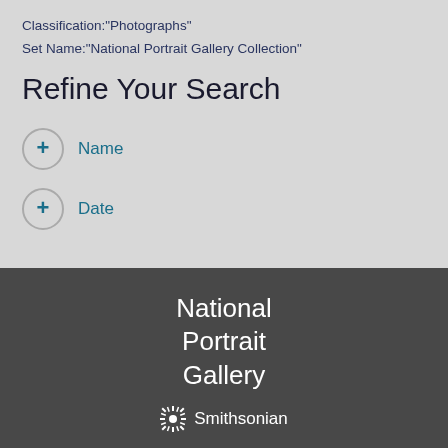Classification:"Photographs"
Set Name:"National Portrait Gallery Collection"
Refine Your Search
+ Name
+ Date
National Portrait Gallery
[Figure (logo): Smithsonian Institution sunburst logo with 'Smithsonian' text in white]
National Portrait Gallery · Smithsonian